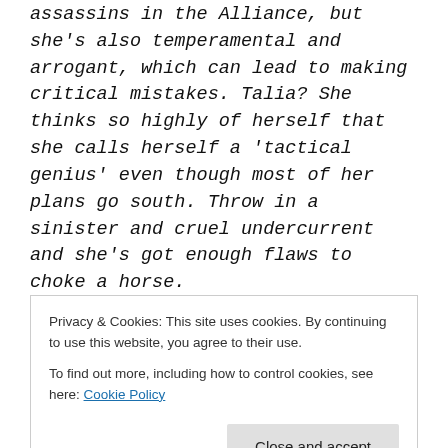assassins in the Alliance, but she's also temperamental and arrogant, which can lead to making critical mistakes. Talia? She thinks so highly of herself that she calls herself a 'tactical genius' even though most of her plans go south. Throw in a sinister and cruel undercurrent and she's got enough flaws to choke a horse.
I have to admit though, that creating characters is easy for me now; it's naming
Privacy & Cookies: This site uses cookies. By continuing to use this website, you agree to their use. To find out more, including how to control cookies, see here: Cookie Policy
Close and accept
…